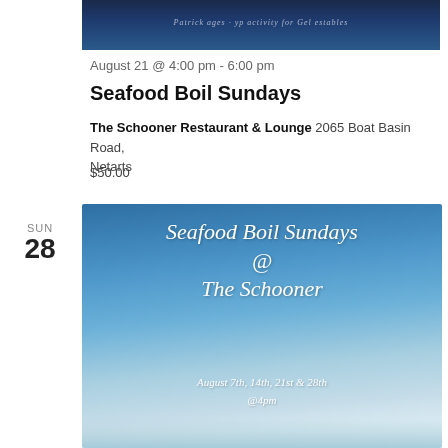[Figure (photo): Top portion of a promotional image for Seafood Boil Sundays event with dark blue ocean background and faint italic text]
August 21 @ 4:00 pm - 6:00 pm
Seafood Boil Sundays
The Schooner Restaurant & Lounge 2065 Boat Basin Road, Netarts
$50.00
SUN
28
[Figure (photo): Promotional flyer image with blue sky and ocean background featuring script text: Seafood Boil Sundays @ The Schooner, August 7th, 14th, 21st & 28th @4pm]